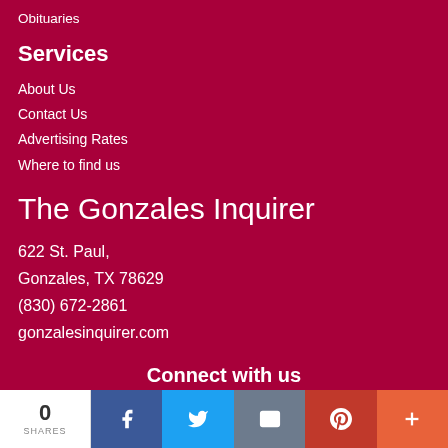Obituaries
Services
About Us
Contact Us
Advertising Rates
Where to find us
The Gonzales Inquirer
622 St. Paul,
Gonzales, TX 78629
(830) 672-2861
gonzalesinquirer.com
Connect with us
[Figure (infographic): Social media icons: Facebook, Twitter, RSS feed]
0 SHARES | Facebook | Twitter | Email | Pinterest | More